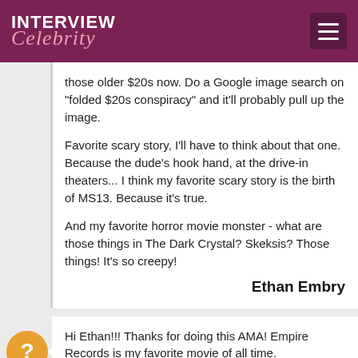INTERVIEW Celebrity
those older $20s now. Do a Google image search on "folded $20s conspiracy" and it'll probably pull up the image.
Favorite scary story, I'll have to think about that one. Because the dude's hook hand, at the drive-in theaters... I think my favorite scary story is the birth of MS13. Because it's true.
And my favorite horror movie monster - what are those things in The Dark Crystal? Skeksis? Those things! It's so creepy!
Ethan Embry
Hi Ethan!!! Thanks for doing this AMA! Empire Records is my favorite movie of all time.

Just one question....How good were those brownies?